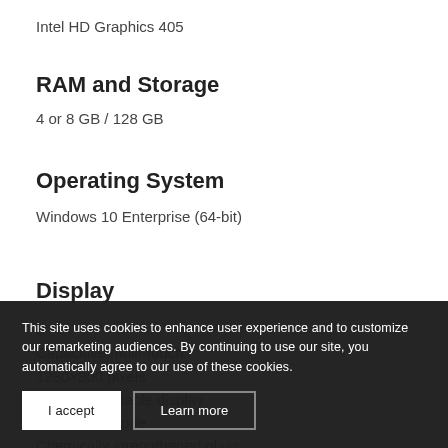Intel HD Graphics 405
RAM and Storage
4 or 8 GB / 128 GB
Operating System
Windows 10 Enterprise (64-bit)
Display
8"
Capacitive multi-touch
1280×800 pixels
Sunlight readable display
Glove/rain mode
Chemically strengthened glass
This site uses cookies to enhance user experience and to customize our remarketing audiences. By continuing to use our site, you automatically agree to our use of these cookies.
I accept
Learn more